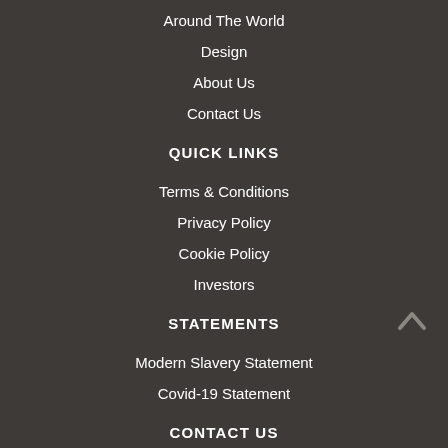Around The World
Design
About Us
Contact Us
QUICK LINKS
Terms & Conditions
Privacy Policy
Cookie Policy
Investors
STATEMENTS
Modern Slavery Statement
Covid-19 Statement
CONTACT US
Inspecs Limited